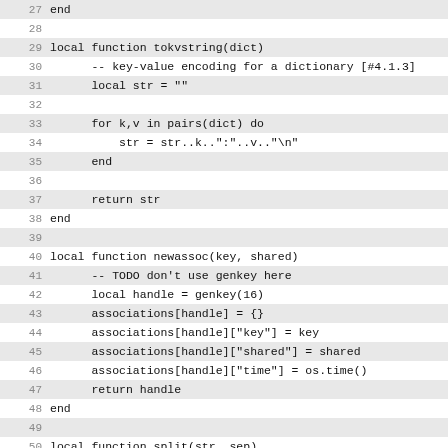Code listing lines 27-50, Lua source code including functions tokvstring, newassoc, and beginning of split.